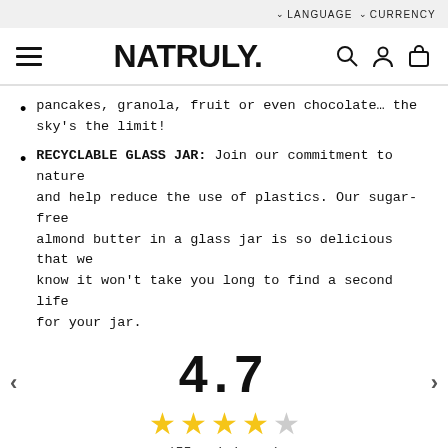LANGUAGE CURRENCY
NATRULY.
pancakes, granola, fruit or even chocolate… the sky's the limit!
RECYCLABLE GLASS JAR: Join our commitment to nature and help reduce the use of plastics. Our sugar-free almond butter in a glass jar is so delicious that we know it won't take you long to find a second life for your jar.
4.7
(55 opiniones)
Laura M.
Compra verificada
14/08/2022
"Absolutamente deliciosa!!!"